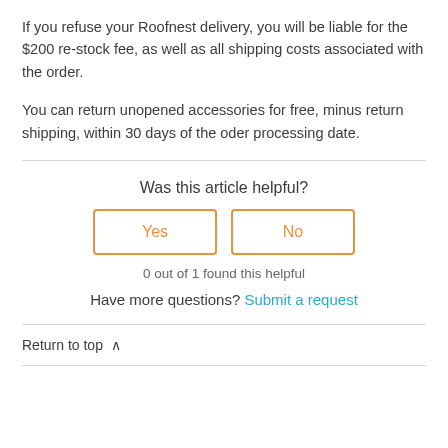If you refuse your Roofnest delivery, you will be liable for the $200 re-stock fee, as well as all shipping costs associated with the order.
You can return unopened accessories for free, minus return shipping, within 30 days of the oder processing date.
Was this article helpful?
Yes
No
0 out of 1 found this helpful
Have more questions? Submit a request
Return to top